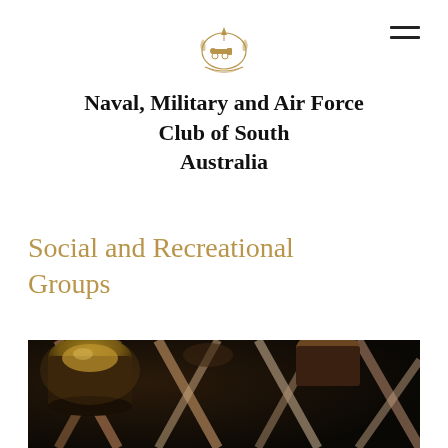[Figure (logo): Naval, Military and Air Force Club of South Australia emblem/crest in gold and dark tones]
Naval, Military and Air Force Club of South Australia
Social and Recreational Groups
[Figure (photo): Close-up photo of wine bottles stored in a wooden X-frame wine rack, dark moody lighting with warm golden and brown tones]